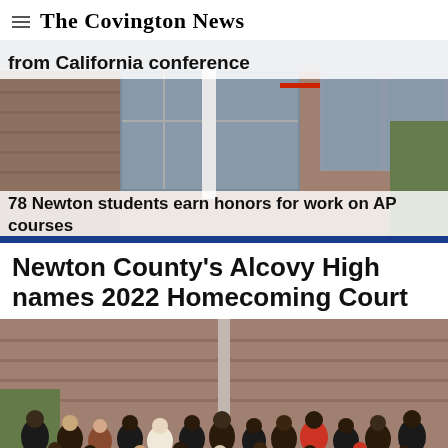The Covington News
[Figure (photo): Exterior photo of a brick school building with large windows. Overlaid headline text reads: 'from California conference' and '78 Newton students earn honors for work on AP courses']
from California conference
78 Newton students earn honors for work on AP courses
Newton County's Alcovy High names 2022 Homecoming Court
[Figure (photo): Group photo of students standing in front of a brick building, presumably the Alcovy High Homecoming Court members.]